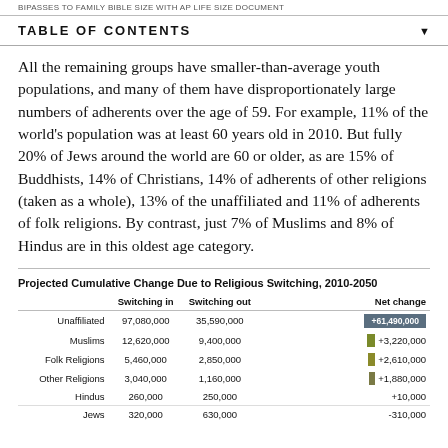BIPASSES TO FAMILY BIBLE SIZE WITH AP LIFE SIZE DOCUMENT
TABLE OF CONTENTS
All the remaining groups have smaller-than-average youth populations, and many of them have disproportionately large numbers of adherents over the age of 59. For example, 11% of the world's population was at least 60 years old in 2010. But fully 20% of Jews around the world are 60 or older, as are 15% of Buddhists, 14% of Christians, 14% of adherents of other religions (taken as a whole), 13% of the unaffiliated and 11% of adherents of folk religions. By contrast, just 7% of Muslims and 8% of Hindus are in this oldest age category.
Projected Cumulative Change Due to Religious Switching, 2010-2050
|  | Switching in | Switching out | Net change |
| --- | --- | --- | --- |
| Unaffiliated | 97,080,000 | 35,590,000 | +61,490,000 |
| Muslims | 12,620,000 | 9,400,000 | +3,220,000 |
| Folk Religions | 5,460,000 | 2,850,000 | +2,610,000 |
| Other Religions | 3,040,000 | 1,160,000 | +1,880,000 |
| Hindus | 260,000 | 250,000 | +10,000 |
| Jews | 320,000 | 630,000 | -310,000 |